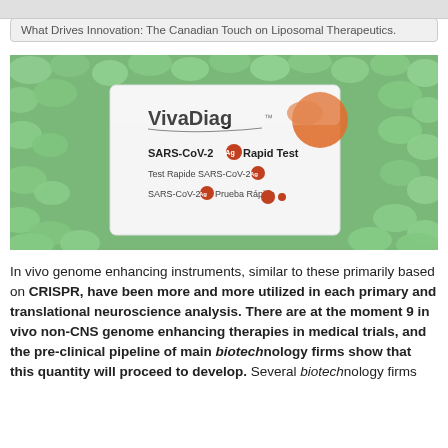What Drives Innovation: The Canadian Touch on Liposomal Therapeutics.
[Figure (photo): A VivaDiag SARS-CoV-2 Ag Rapid Test box sitting among green foam packing peanuts. The box is white and displays the product name in multiple languages: 'SARS-CoV-2 Ag Rapid Test', 'Test Rapide SARS-CoV-2 Ag', and 'SARS-CoV-2 Ag Prueba Rápida'. There is an orange circular design element in the upper right corner of the box.]
In vivo genome enhancing instruments, similar to these primarily based on CRISPR, have been more and more utilized in each primary and translational neuroscience analysis. There are at the moment 9 in vivo non-CNS genome enhancing therapies in medical trials, and the pre-clinical pipeline of main biotechnology firms show that this quantity will proceed to develop. Several biotechnology firms